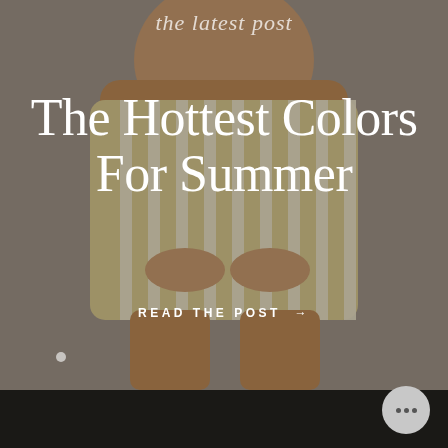[Figure (photo): A person wearing a yellow and white striped swimsuit, shown from torso down, hands resting on hips, beach/outdoor background with a warm muted overlay.]
the latest post
The Hottest Colors For Summer
READ THE POST →